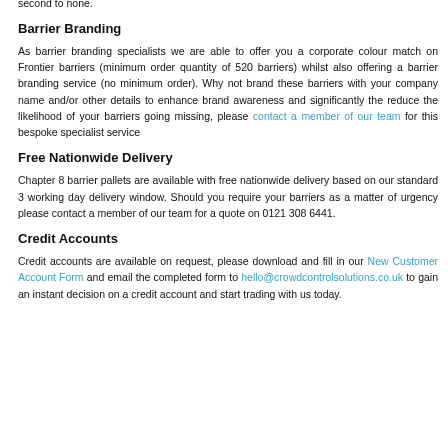Guarantee, offering free replacements on all barriers with damaged feet for the first 12 months, you can rest assured safe in the knowledge the durability of our barriers is second to none.
Barrier Branding
As barrier branding specialists we are able to offer you a corporate colour match on Frontier barriers (minimum order quantity of 520 barriers) whilst also offering a barrier branding service (no minimum order). Why not brand these barriers with your company name and/or other details to enhance brand awareness and significantly the reduce the likelihood of your barriers going missing, please contact a member of our team for this bespoke specialist service
Free Nationwide Delivery
Chapter 8 barrier pallets are available with free nationwide delivery based on our standard 3 working day delivery window. Should you require your barriers as a matter of urgency please contact a member of our team for a quote on 0121 308 6441.
Credit Accounts
Credit accounts are available on request, please download and fill in our New Customer Account Form and email the completed form to hello@crowdcontrolsolutions.co.uk to gain an instant decision on a credit account and start trading with us today.